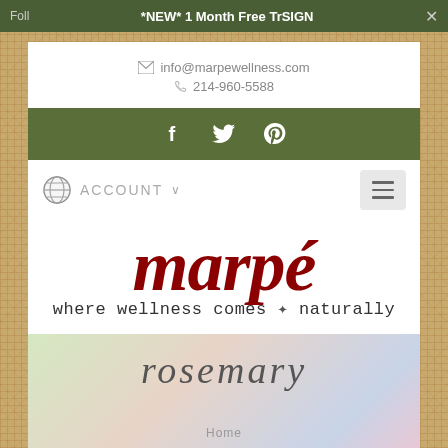*NEW* 1 Month Free TrSIGN ×
info@marpewellness.com
214-960-5588
[Figure (logo): Social media icons bar: Facebook (f), Twitter (bird), Pinterest (p) on dark olive/green background]
ACCOUNT ∨
[Figure (logo): Marpé logo — large dark red italic serif text 'marpé' with tagline 'where wellness comes naturally' below in handwriting style]
rosemary